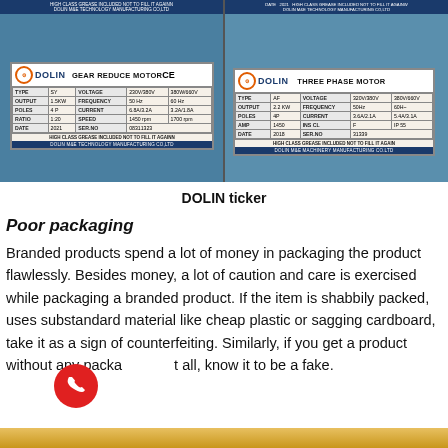[Figure (photo): Photo of two DOLIN motor label plates. Left: Gear Reduce Motor label showing Type SY, Output 1.5KW, Poles 4P, Ratio 1:20, Date 2021, Voltage 230V/380V and 380W/660V, Frequency 50Hz and 60Hz, Current 6.8A/3.2A and 3.2A/1.8A, Speed 1450rpm and 1700rpm, Ser.No 08311323. Right: Three Phase Motor label. Both with DOLIN M&E TECHNOLOGY MANUFACTURING CO.LTD footer.]
DOLIN ticker
Poor packaging
Branded products spend a lot of money in packaging the product flawlessly. Besides money, a lot of caution and care is exercised while packaging a branded product. If the item is shabbily packed, uses substandard material like cheap plastic or sagging cardboard, take it as a sign of counterfeiting. Similarly, if you get a product without any packaging at all, know it to be a fake.